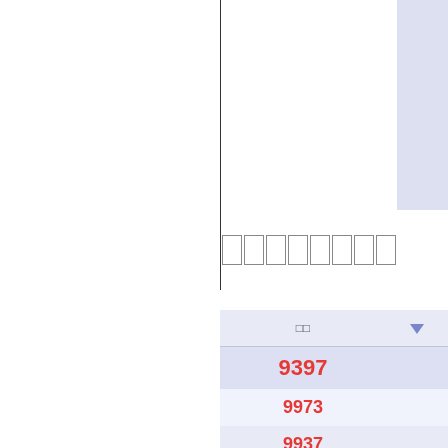[Figure (screenshot): Upper panel showing a white area with a blue/lavender rectangle on the right side, bordered by dark lines on the left and bottom.]
□□□□□□□□
| □□ | ▼ |
| --- | --- |
| 9397 |  |
| 9973 |  |
| 9937 |  |
| 9793 |  |
| 9739 |  |